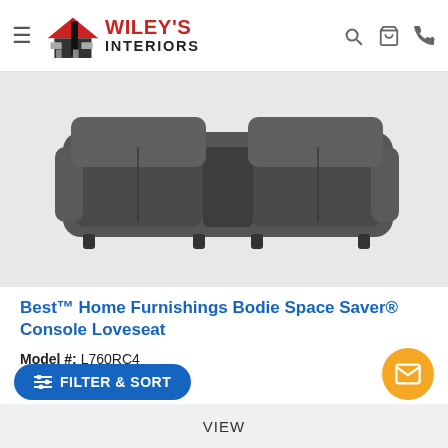Wiley's Interiors
[Figure (photo): Grey fabric reclining loveseat/console sofa viewed from front-angle, dark charcoal microfiber upholstery]
Best™ Home Furnishings Bodie Space Saver® Console Loveseat
Model #: L760RC4
★★★★★ (0)
Price
FILTER & SORT
VIEW